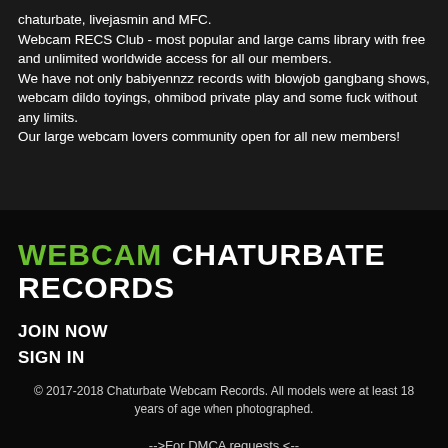chaturbate, livejasmin and MFC.
Webcam RECS Club - most popular and large cams library with free and unlimited worldwide access for all our members.
We have not only babiyennzz records with blowjob gangbang shows, webcam dildo toyings, ohmibod private play and some fuck without any limits.
Our large webcam lovers community open for all new members!
WEBCAM CHATURBATE RECORDS
JOIN NOW
SIGN IN
© 2017-2018 Chaturbate Webcam Records. All models were at least 18 years of age when photographed.
-->For DMCA requests <--